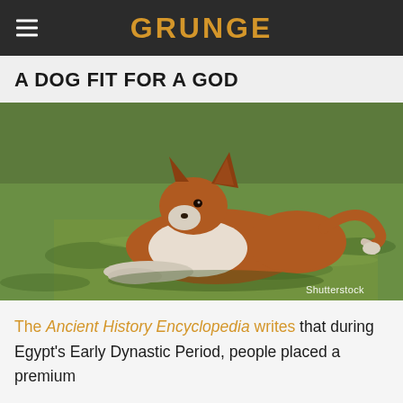GRUNGE
A DOG FIT FOR A GOD
[Figure (photo): A brown and white Basenji dog lying on green grass, looking to the left, with erect ears. Shutterstock credit in bottom right.]
The Ancient History Encyclopedia writes that during Egypt's Early Dynastic Period, people placed a premium